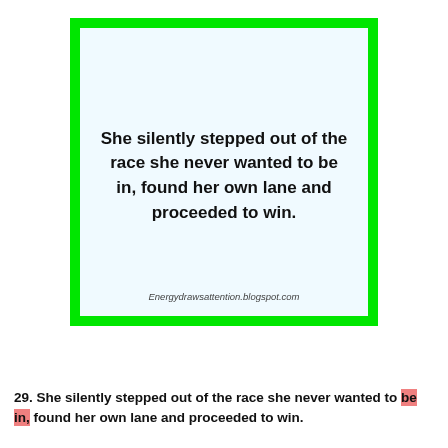[Figure (illustration): A quote card with a thick bright green border and light blue interior background containing bold text of the quote, and a website URL at the bottom.]
29. She silently stepped out of the race she never wanted to be in, found her own lane and proceeded to win.